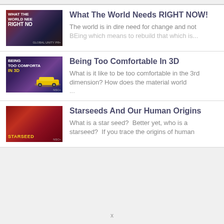What The World Needs RIGHT NOW! — The world is in dire need for change and not BEing which means to rebuild that which is...
Being Too Comfortable In 3D — What is it like to be too comfortable in the 3rd dimension? How does the material world...
Starseeds And Our Human Origins — What is a star seed? Better yet, who is a starseed? If you trace the origins of human...